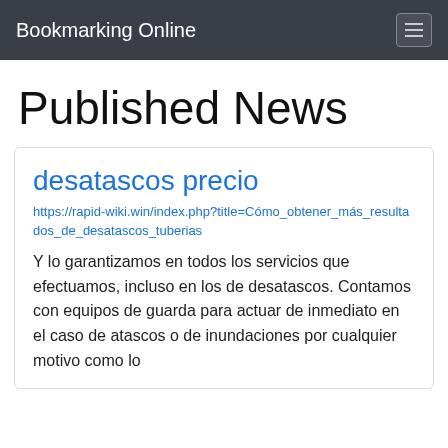Bookmarking Online
Published News
desatascos precio
https://rapid-wiki.win/index.php?title=Cómo_obtener_más_resultados_de_desatascos_tuberias
Y lo garantizamos en todos los servicios que efectuamos, incluso en los de desatascos. Contamos con equipos de guarda para actuar de inmediato en el caso de atascos o de inundaciones por cualquier motivo como lo